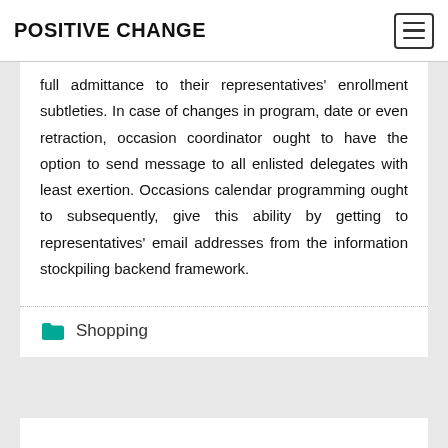POSITIVE CHANGE
full admittance to their representatives' enrollment subtleties. In case of changes in program, date or even retraction, occasion coordinator ought to have the option to send message to all enlisted delegates with least exertion. Occasions calendar programming ought to subsequently, give this ability by getting to representatives' email addresses from the information stockpiling backend framework.
Shopping